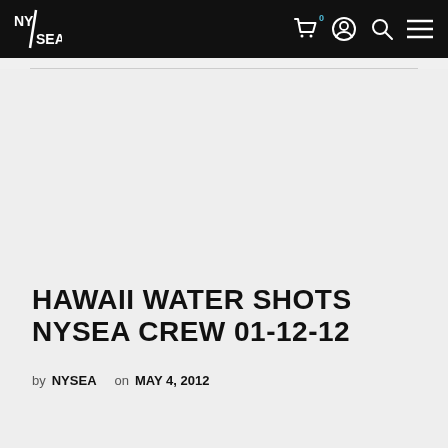NYSEA — navigation bar with logo, cart, account, search, and menu icons
[Figure (screenshot): Large empty gray content area placeholder (no image loaded)]
HAWAII WATER SHOTS NYSEA CREW 01-12-12
by NYSEA on MAY 4, 2012